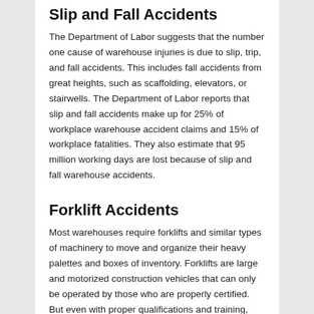Slip and Fall Accidents
The Department of Labor suggests that the number one cause of warehouse injuries is due to slip, trip, and fall accidents. This includes fall accidents from great heights, such as scaffolding, elevators, or stairwells. The Department of Labor reports that slip and fall accidents make up for 25% of workplace warehouse accident claims and 15% of workplace fatalities. They also estimate that 95 million working days are lost because of slip and fall warehouse accidents.
Forklift Accidents
Most warehouses require forklifts and similar types of machinery to move and organize their heavy palettes and boxes of inventory. Forklifts are large and motorized construction vehicles that can only be operated by those who are properly certified. But even with proper qualifications and training, workplace forklift accidents happen all the time. According to the Occupational Safety